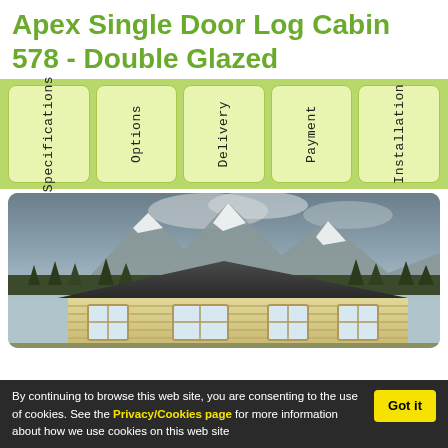Apex Single Door Log Cabin 578 - Double Glazed
[Figure (infographic): Navigation tab bar with five vertically oriented tabs on a light green background: Specifications, Options, Delivery, Payment, Installation]
[Figure (photo): Photo of a log cabin with apex roof against a backdrop of snow-capped mountains and evergreen trees]
By continuing to browse this web site, you are consenting to the use of cookies. See the Privacy/Cookies page for more information about how we use cookies on this web site